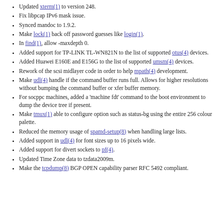Updated xterm(1) to version 248.
Fix libpcap IPv6 mask issue.
Synced mandoc to 1.9.2.
Make lock(1) back off password guesses like login(1).
In find(1), allow -maxdepth 0.
Added support for TP-LINK TL-WN821N to the list of supported otus(4) devices.
Added Huawei E160E and E156G to the list of supported umsm(4) devices.
Rework of the scsi midlayer code in order to help mpath(4) development.
Make udl(4) handle if the command buffer runs full. Allows for higher resolutions without bumping the command buffer or xfer buffer memory.
For socppc machines, added a 'machine fdt' command to the boot environment to dump the device tree if present.
Make tmux(1) able to configure option such as status-bg using the entire 256 colour palette.
Reduced the memory usage of spamd-setup(8) when handling large lists.
Added support in udl(4) for font sizes up to 16 pixels wide.
Added support for divert sockets to pf(4).
Updated Time Zone data to tzdata2009m.
Make the tcpdump(8) BGP OPEN capability parser RFC 5492 compliant.